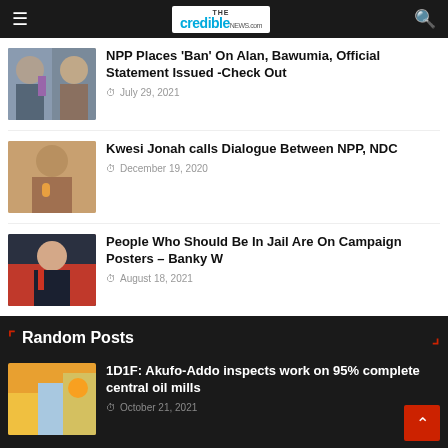The Credible News
NPP Places 'Ban' On Alan, Bawumia, Official Statement Issued -Check Out | July 29, 2021
Kwesi Jonah calls Dialogue Between NPP, NDC | December 19, 2020
People Who Should Be In Jail Are On Campaign Posters – Banky W | August 18, 2021
Random Posts
1D1F: Akufo-Addo inspects work on 95% complete central oil mills | October 21, 2021